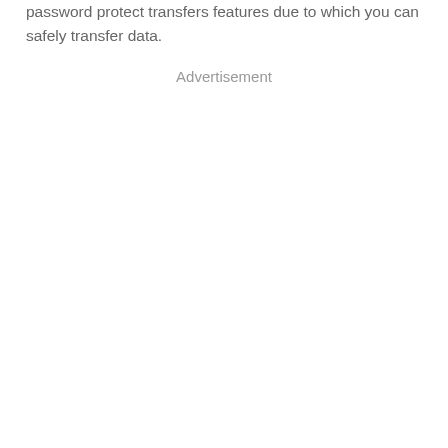password protect transfers features due to which you can safely transfer data.
Advertisement